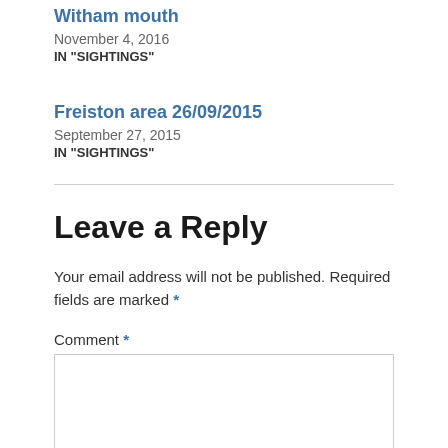Witham mouth
November 4, 2016
IN "SIGHTINGS"
Freiston area 26/09/2015
September 27, 2015
IN "SIGHTINGS"
Leave a Reply
Your email address will not be published. Required fields are marked *
Comment *